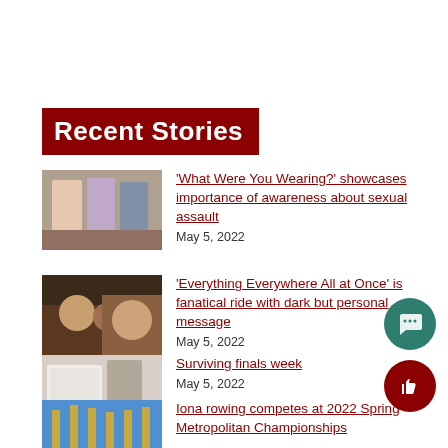Recent Stories
'What Were You Wearing?' showcases importance of awareness about sexual assault
May 5, 2022
'Everything Everywhere All at Once' is fanatical ride with dark but personal message
May 5, 2022
Surviving finals week
May 5, 2022
Iona rowing competes at 2022 Spring Metropolitan Championships